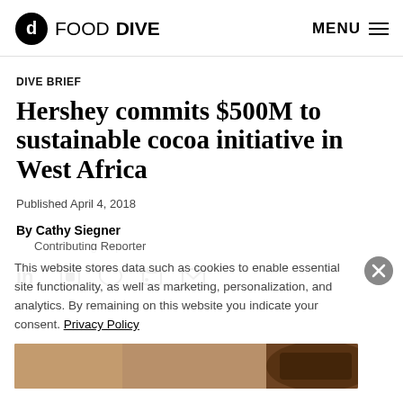FOOD DIVE | MENU
DIVE BRIEF
Hershey commits $500M to sustainable cocoa initiative in West Africa
Published April 4, 2018
By Cathy Siegner
Contributing Reporter
[Figure (infographic): Social sharing icons: LinkedIn, Facebook, Twitter, Print, Email]
This website stores data such as cookies to enable essential site functionality, as well as marketing, personalization, and analytics. By remaining on this website you indicate your consent. Privacy Policy
[Figure (photo): Bottom strip showing chocolate/cocoa image background]